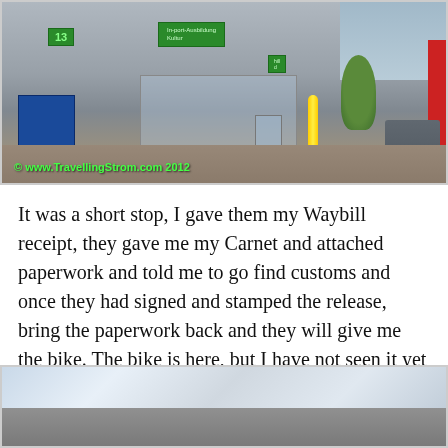[Figure (photo): Exterior photo of a freight/customs building with green signs, blue loading dock, parked cars, a tree, and a yellow bollard. Green text watermark reads '© www.TravellingStrom.com 2012' at the bottom left.]
It was a short stop, I gave them my Waybill receipt, they gave me my Carnet and attached paperwork and told me to go find customs and once they had signed and stamped the release, bring the paperwork back and they will give me the bike. The bike is here, but I have not seen it yet 😉 So off down the road we found the customs house.
[Figure (photo): Partial view of a large industrial or customs building against a cloudy sky, cropped at the bottom of the page.]